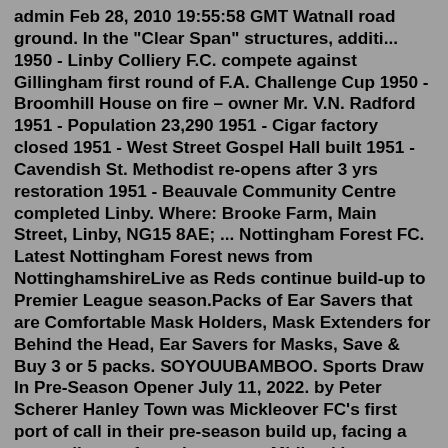admin Feb 28, 2010 19:55:58 GMT Watnall road ground. In the "Clear Span" structures, additi... 1950 - Linby Colliery F.C. compete against Gillingham first round of F.A. Challenge Cup 1950 - Broomhill House on fire – owner Mr. V.N. Radford 1951 - Population 23,290 1951 - Cigar factory closed 1951 - West Street Gospel Hall built 1951 - Cavendish St. Methodist re-opens after 3 yrs restoration 1951 - Beauvale Community Centre completed Linby. Where: Brooke Farm, Main Street, Linby, NG15 8AE; ... Nottingham Forest FC. Latest Nottingham Forest news from NottinghamshireLive as Reds continue build-up to Premier League season.Packs of Ear Savers that are Comfortable Mask Holders, Mask Extenders for Behind the Head, Ear Savers for Masks, Save & Buy 3 or 5 packs. SOYOUUBAMBOO. Sports Draw In Pre-Season Opener July 11, 2022. by Peter Scherer Hanley Town was Mickleover FC's first port of call in their pre-season build up, facing a strong line-up from the current Midland League Premier Champions.